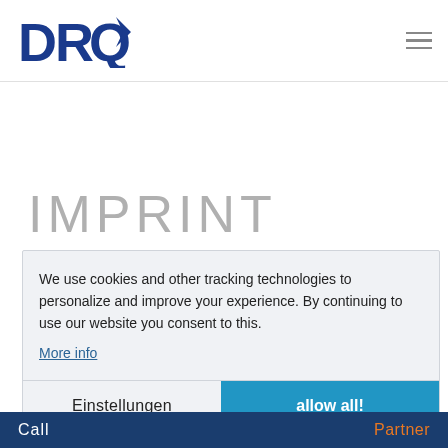[Figure (logo): DRQ logo — bold blue letters D, R, Q with a dark navy chevron/arrow accent mark on the Q]
IMPRINT
We use cookies and other tracking technologies to personalize and improve your experience. By continuing to use our website you consent to this.
More info
Einstellungen
allow all!
Call   Partner